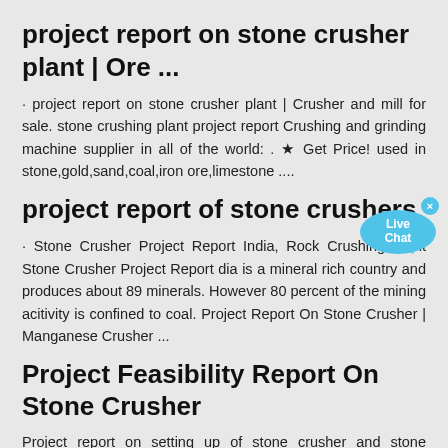project report on stone crusher plant | Ore ...
· project report on stone crusher plant | Crusher and mill for sale. stone crushing plant project report Crushing and grinding machine supplier in all of the world: . ★ Get Price! used in stone,gold,sand,coal,iron ore,limestone ....
[Figure (illustration): Live Chat button/bubble in blue]
project report of stone crushers
· Stone Crusher Project Report India, Rock Crushing Plant Stone Crusher Project Report dia is a mineral rich country and produces about 89 minerals. However 80 percent of the mining acitivity is confined to coal. Project Report On Stone Crusher | Manganese Crusher ...
Project Feasibility Report On Stone Crusher
Project report on setting up of stone crusher and stone crushing … Stone crushing plant project report The stone